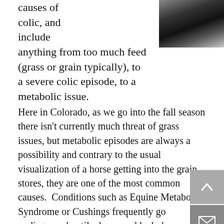[Figure (photo): Black and white photograph, appears to show light streaks against a dark sky or background]
causes of colic, and include anything from too much feed (grass or grain typically), to a severe colic episode, to a metabolic issue.
Here in Colorado, as we go into the fall season there isn't currently much threat of grass issues, but metabolic episodes are always a possibility and contrary to the usual visualization of a horse getting into the grain stores, they are one of the most common causes.  Conditions such as Equine Metabolic Syndrome or Cushings frequently go undiagnosed until a horse suddenly becomes lame and laminitic.
Will my horse be pain-free, or even rideable, again?
Treatment of laminitis is focused immediately on decreasing the inflammation within the foot in order to reduce to risk of